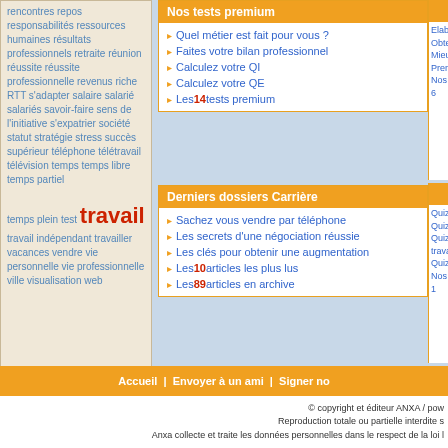rencontres repos responsabilités ressources humaines résultats professionnels retraite réunion réussite réussite professionnelle revenus riche RTT s'adapter salaire salarié salariés savoir-faire sens de l'initiative s'expatrier société statut stratégie stress succès supérieur téléphone télétravail télévision temps temps libre temps partiel temps plein test travail travail indépendant travailler vacances vendre vie personnelle vie professionnelle ville visualisation web
Nos tests premium
Quel métier est fait pour vous ?
Faites votre bilan professionnel
Calculez votre QI
Calculez votre QE
Les 14 tests premium
Derniers dossiers Carrière
Sachez vous vendre par téléphone
Les secrets d'une négociation réussie
Les clés pour obtenir une augmentation
Les 10 articles les plus lus
Les 89 articles en archive
Ajouter le flux "Emploi et carrière " à votre page
Accueil | Envoyer à un ami | Signer no
© copyright et éditeur ANXA / pow
Reproduction totale ou partielle interdite s
Anxa collecte et traite les données personnelles dans le respect de la loi l